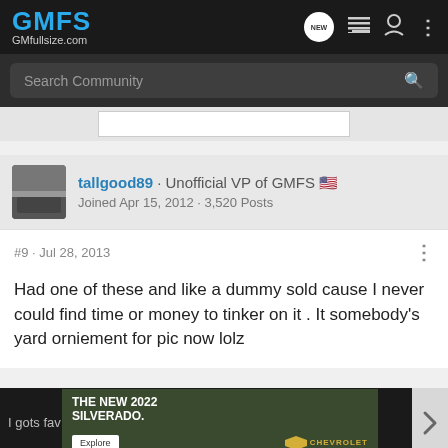GMFS GMfullsize.com
Search Community
[Figure (screenshot): Partial image strip showing cropped content]
tallgood89 · Unofficial VP of GMFS 🇺🇸
Joined Apr 15, 2012 · 3,520 Posts
#9 · Jul 28, 2013
Had one of these and like a dummy sold cause I never could find time or money to tinker on it . It somebody's yard orniement for pic now lolz
I gots fav
[Figure (screenshot): Advertisement banner: THE NEW 2022 SILVERADO. Explore. Chevrolet logo.]